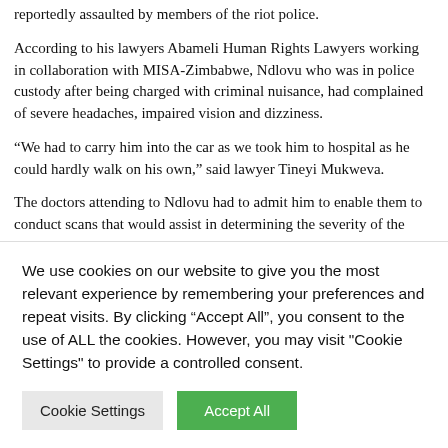reportedly assaulted by members of the riot police.
According to his lawyers Abameli Human Rights Lawyers working in collaboration with MISA-Zimbabwe, Ndlovu who was in police custody after being charged with criminal nuisance, had complained of severe headaches, impaired vision and dizziness.
“We had to carry him into the car as we took him to hospital as he could hardly walk on his own,” said lawyer Tineyi Mukweva.
The doctors attending to Ndlovu had to admit him to enable them to conduct scans that would assist in determining the severity of the injuries to his swollen head.
According to media reports, Ndlovu was arrestedÂ for taking pictures of the police on the rally and...
We use cookies on our website to give you the most relevant experience by remembering your preferences and repeat visits. By clicking “Accept All”, you consent to the use of ALL the cookies. However, you may visit "Cookie Settings" to provide a controlled consent.